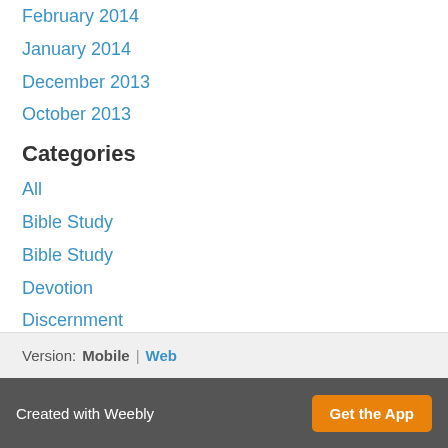February 2014
January 2014
December 2013
October 2013
Categories
All
Bible Study
Bible Study
Devotion
Discernment
Encouragement
Health
Riches
Tithing
RSS Feed
Version: Mobile | Web
Created with Weebly  Get the App